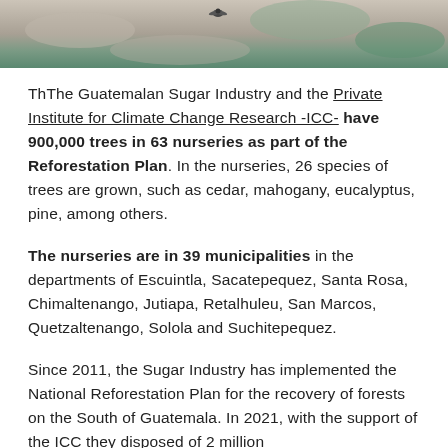[Figure (photo): Aerial or overhead photograph showing sandy/rocky ground with some blue-green vegetation in the upper right corner and a small bird or figure silhouette near the center top.]
ThThe Guatemalan Sugar Industry and the Private Institute for Climate Change Research -ICC- have 900,000 trees in 63 nurseries as part of the Reforestation Plan. In the nurseries, 26 species of trees are grown, such as cedar, mahogany, eucalyptus, pine, among others.
The nurseries are in 39 municipalities in the departments of Escuintla, Sacatepequez, Santa Rosa, Chimaltenango, Jutiapa, Retalhuleu, San Marcos, Quetzaltenango, Solola and Suchitepequez.
Since 2011, the Sugar Industry has implemented the National Reforestation Plan for the recovery of forests on the South of Guatemala. In 2021, with the support of the ICC they disposed of 2 million...